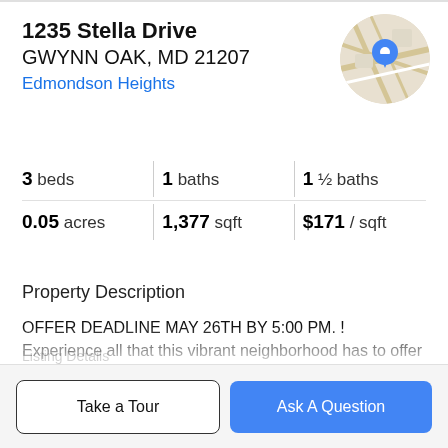1235 Stella Drive
GWYNN OAK, MD 21207
Edmondson Heights
[Figure (map): Circular map thumbnail showing street map with a blue location pin marker]
| Beds | Baths | Half Baths | Acres | Sqft | $/sqft |
| --- | --- | --- | --- | --- | --- |
| 3 beds | 1 baths | 1 ½ baths | 0.05 acres | 1,377 sqft | $171 / sqft |
Property Description
OFFER DEADLINE MAY 26TH BY 5:00 PM. ! Experience all that this vibrant neighborhood has to offer for a very competitive and affordable price. Enter this meticulously maintained home with features including - Galley style kitchen, three well sized bedrooms, recently renovated